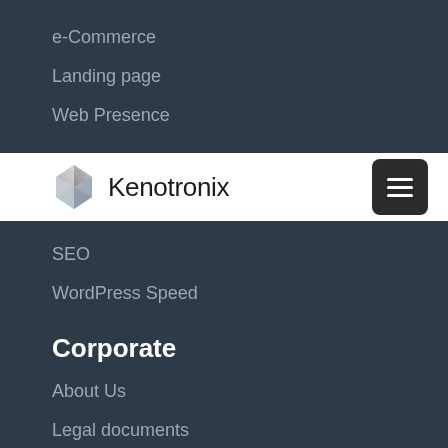e-Commerce
Landing page
Web Presence
[Figure (logo): Kenotronix logo with geometric gem icon and text]
SEO
WordPress Speed
Corporate
About Us
Legal documents
Program for NPOs
The 12 reasons
Contact Us